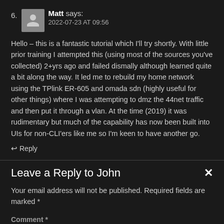6. Matt says: 2022-07-23 AT 09:56
Hello – this is a fantastic tutorial which I'll try shortly. With little prior training I attempted this (using most of the sources you've collected) 2+yrs ago and failed dismally although learned quite a bit along the way. It led me to rebuild my home network using the TPlink ER-605 and omada sdn (highly useful for other things) where I was attempting to dmz the 44net traffic and then put it through a vlan. At the time (2019) it was rudimentary but much of the capability has now been built into UIs for non-CLI'ers like me so I'm keen to have another go.
↩ Reply
Leave a Reply to John
Your email address will not be published. Required fields are marked *
Comment *